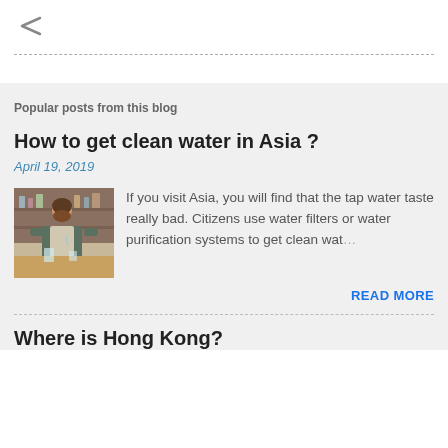[Figure (illustration): Share icon (less-than angle bracket symbol) in gray]
Popular posts from this blog
How to get clean water in Asia ?
April 19, 2019
[Figure (photo): Photo of a bearded man in an apron pouring water or a drink at a bar/cafe counter]
If you visit Asia, you will find that the tap water taste really bad. Citizens use water filters or water purification systems to get clean wat…
READ MORE
Where is Hong Kong?